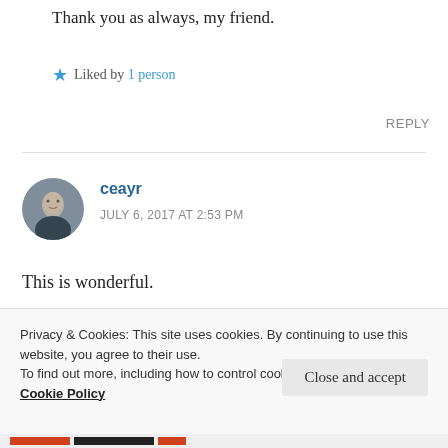Thank you as always, my friend.
★ Liked by 1 person
REPLY
ceayr
JULY 6, 2017 AT 2:53 PM
This is wonderful.
Privacy & Cookies: This site uses cookies. By continuing to use this website, you agree to their use.
To find out more, including how to control cookies, see here: Cookie Policy
Close and accept